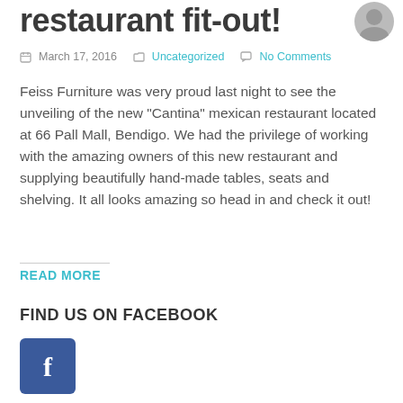restaurant fit-out!
March 17, 2016   Uncategorized   No Comments
Feiss Furniture was very proud last night to see the unveiling of the new “Cantina” mexican restaurant located at 66 Pall Mall, Bendigo. We had the privilege of working with the amazing owners of this new restaurant and supplying beautifully hand-made tables, seats and shelving. It all looks amazing so head in and check it out!
READ MORE
FIND US ON FACEBOOK
[Figure (logo): Facebook button icon, blue square with white 'f' letter]